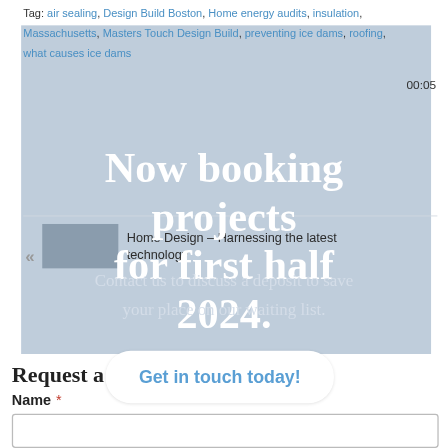Tag: air sealing, Design Build Boston, Home energy audits, insulation, Massachusetts, Masters Touch Design Build, preventing ice dams, roofing, what causes ice dams
00:05
Home Design – Harnessing the latest technology
Now booking projects for first half 2024.
Contact us to discuss a deposit to save your place on our waiting list.
Peeling house paint, and other paint failures
Request a Consultation
Get in touch today!
Name *